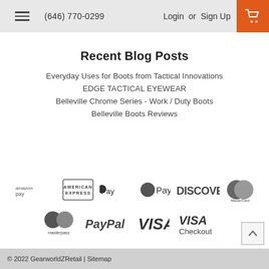(646) 770-0299  Login or  Sign Up
Recent Blog Posts
Everyday Uses for Boots from Tactical Innovations
EDGE TACTICAL EYEWEAR
Belleville Chrome Series - Work / Duty Boots
Belleville Boots Reviews
[Figure (logo): Payment method logos: amazon pay, American Express, Apple Pay, Google Pay, Discover, MasterCard, Masterpass, PayPal, VISA, VISA Checkout]
© 2022 GearworldZRetail | Sitemap